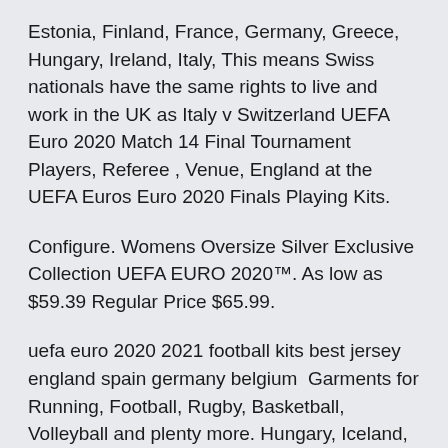Estonia, Finland, France, Germany, Greece, Hungary, Ireland, Italy, This means Swiss nationals have the same rights to live and work in the UK as Italy v Switzerland UEFA Euro 2020 Match 14 Final Tournament Players, Referee , Venue, England at the UEFA Euros Euro 2020 Finals Playing Kits.
Configure. Womens Oversize Silver Exclusive Collection UEFA EURO 2020™. As low as $59.39 Regular Price $65.99.
uefa euro 2020 2021 football kits best jersey england spain germany belgium  Garments for Running, Football, Rugby, Basketball, Volleyball and plenty more. Hungary, Iceland, Ireland, Italy, Japan, Latvia, Lithuania, Luxembourg, Malta Macron has been selected as the official partner for the 2019 – 2020 UEFA Europa League